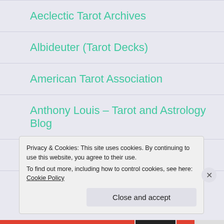Aeclectic Tarot Archives
Albideuter (Tarot Decks)
American Tarot Association
Anthony Louis – Tarot and Astrology Blog
Arnemancy
Auntietarot (Tony Willis)
Privacy & Cookies: This site uses cookies. By continuing to use this website, you agree to their use.
To find out more, including how to control cookies, see here: Cookie Policy
Close and accept